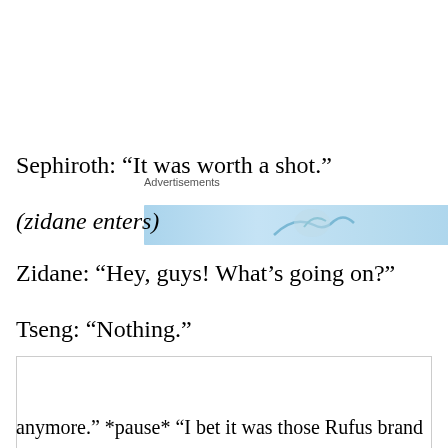[Figure (other): Advertisements banner with light blue background and partial bird/logo image]
Sephiroth: “It was worth a shot.”
(zidane enters)
Zidane: “Hey, guys! What’s going on?”
Tseng: “Nothing.”
Privacy & Cookies: This site uses cookies. By continuing to use this website, you agree to their use.
To find out more, including how to control cookies, see here: Cookie Policy
Close and accept
anymore." *pause* "I bet it was those Rufus brand